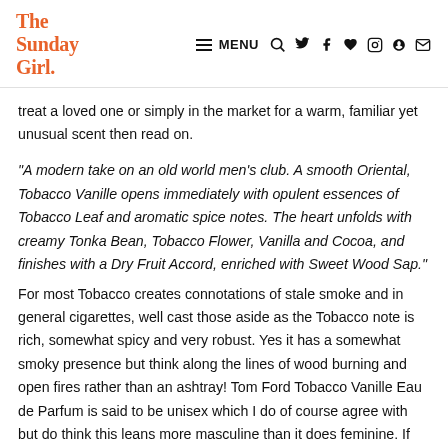The Sunday Girl. — MENU navigation icons
treat a loved one or simply in the market for a warm, familiar yet unusual scent then read on.
"A modern take on an old world men's club. A smooth Oriental, Tobacco Vanille opens immediately with opulent essences of Tobacco Leaf and aromatic spice notes. The heart unfolds with creamy Tonka Bean, Tobacco Flower, Vanilla and Cocoa, and finishes with a Dry Fruit Accord, enriched with Sweet Wood Sap."
For most Tobacco creates connotations of stale smoke and in general cigarettes, well cast those aside as the Tobacco note is rich, somewhat spicy and very robust. Yes it has a somewhat smoky presence but think along the lines of wood burning and open fires rather than an ashtray! Tom Ford Tobacco Vanille Eau de Parfum is said to be unisex which I do of course agree with but do think this leans more masculine than it does feminine. If you